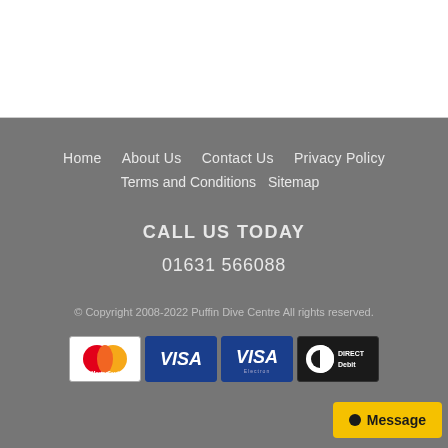Home  About Us  Contact Us  Privacy Policy  Terms and Conditions  Sitemap
CALL US TODAY
01631 566088
© Copyright 2008-2022 Puffin Dive Centre All rights reserved.
[Figure (logo): Payment method logos: MasterCard, Visa (blue), Visa (dark), Direct Debit]
Message